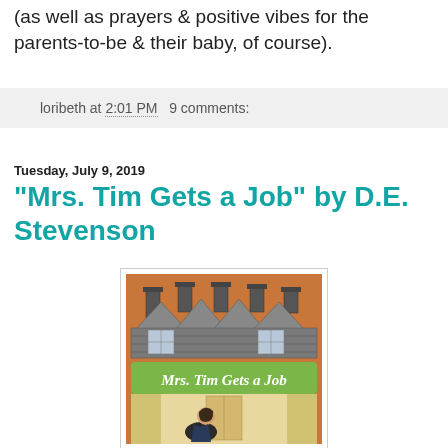(as well as prayers & positive vibes for the parents-to-be & their baby, of course).
loribeth at 2:01 PM   9 comments:
Tuesday, July 9, 2019
"Mrs. Tim Gets a Job" by D.E. Stevenson
[Figure (illustration): Book cover of 'Mrs. Tim Gets a Job' showing a house with chimneys at the top and a woman sitting inside a room below, with a green banner reading 'Mrs. Tim Gets a Job']